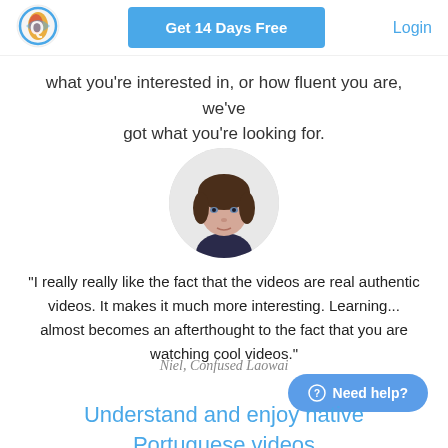Get 14 Days Free | Login
what you're interested in, or how fluent you are, we've got what you're looking for.
[Figure (photo): Round avatar photo of a young man with brown hair and blue eyes, white background]
“I really really like the fact that the videos are real authentic videos. It makes it much more interesting. Learning... almost becomes an afterthought to the fact that you are watching cool videos.”
Niel, Confused Laowai
Understand and enjoy native Portuguese videos